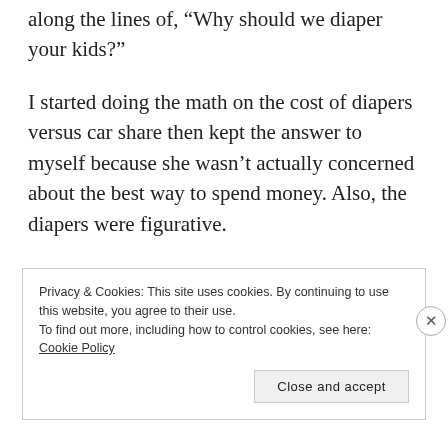along the lines of, “Why should we diaper your kids?”
I started doing the math on the cost of diapers versus car share then kept the answer to myself because she wasn’t actually concerned about the best way to spend money. Also, the diapers were figurative.
Privacy & Cookies: This site uses cookies. By continuing to use this website, you agree to their use.
To find out more, including how to control cookies, see here: Cookie Policy
Close and accept